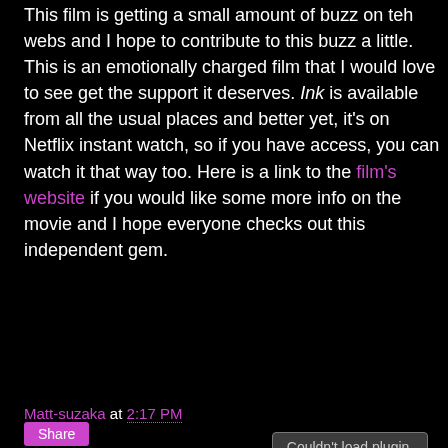This film is getting a small amount of buzz on teh webs and I hope to contribute to this buzz a little. This is an emotionally charged film that I would love to see get the support it deserves. Ink is available from all the usual places and better yet, it's on Netflix instant watch, so if you have access, you can watch it that way too. Here is a link to the film's website if you would like some more info on the movie and I hope everyone checks out this independent gem.
[Figure (other): Embedded media plugin area showing 'Couldn't load plugin.' error message]
Matt-suzaka at 2:17 PM